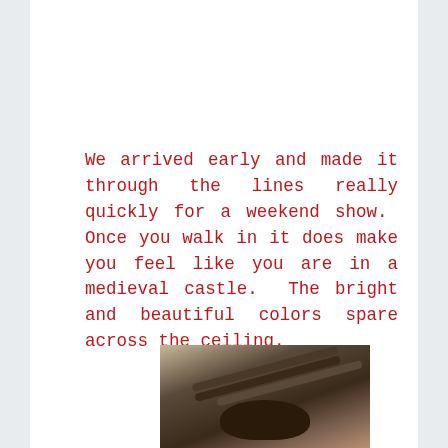We arrived early and made it through the lines really quickly for a weekend show.  Once you walk in it does make you feel like you are in a medieval castle.  The bright and beautiful colors spare across the ceiling.
[Figure (photo): Photo of a decorative chandelier or ceiling fixture in a medieval-themed restaurant, with ornate curved metalwork visible against a dark ceiling with some lighting.]